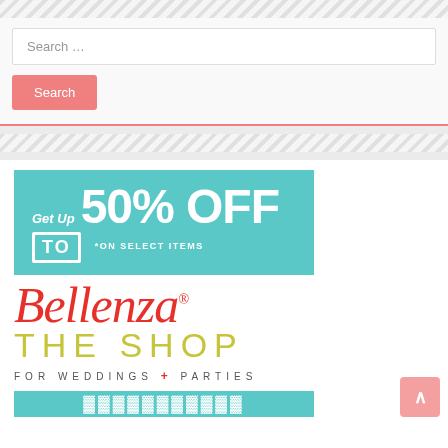[Figure (screenshot): Diagonal stripe decorative bar at top]
Search ...
Search
[Figure (infographic): Teal banner: Get Up TO 50% OFF *ON SELECT ITEMS]
[Figure (logo): Bellenza The Shop for Weddings + Parties logo with script red Bellenza text, olive green THE SHOP, and small caps FOR WEDDINGS + PARTIES]
[Figure (infographic): Teal bottom banner with white bold text (partially visible)]